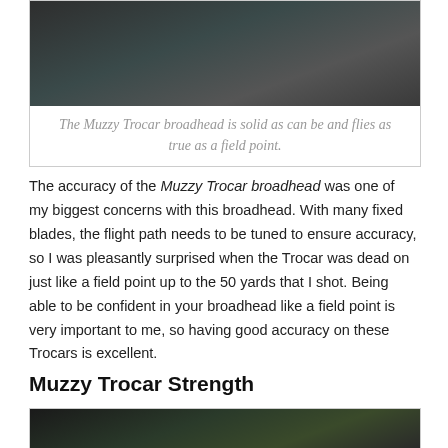[Figure (photo): Dark blurry photo of the Muzzy Trocar broadhead product]
The Muzzy Trocar broadhead is solid as can be and flies as true as a field point.
The accuracy of the Muzzy Trocar broadhead was one of my biggest concerns with this broadhead. With many fixed blades, the flight path needs to be tuned to ensure accuracy, so I was pleasantly surprised when the Trocar was dead on just like a field point up to the 50 yards that I shot. Being able to be confident in your broadhead like a field point is very important to me, so having good accuracy on these Trocars is excellent.
Muzzy Trocar Strength
[Figure (photo): Dark blurry photo showing Muzzy Trocar broadhead strength test or usage]